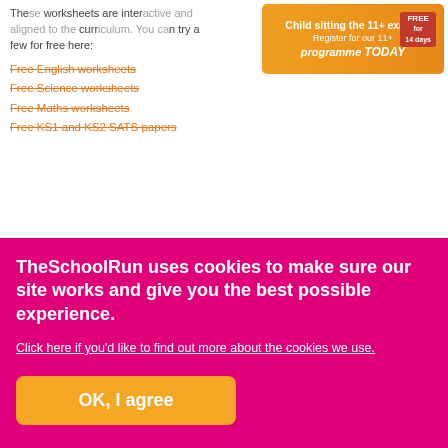These worksheets are interactive and aligned to the current curriculum. You can try a few for free here:
[Figure (infographic): Advertisement banner for 11+ exam programme registration - orange background with text 'Child sitting the 11+ exam? Register for our 11+ programme TODAY' and 'FREE for 14 days']
Free English worksheets
Free Science worksheets
Free Maths worksheets
Free KS1 and KS2 SATS papers
Tutorial finder
Learning pack finder
[Figure (photo): Product images showing TheSchoolRun learning packs on dark/teal backgrounds]
TheSchoolRun uses cookies to make sure our site works and give you the best possible experience.
Click here if you'd like to find out more about the cookies we use.
OK, I agree